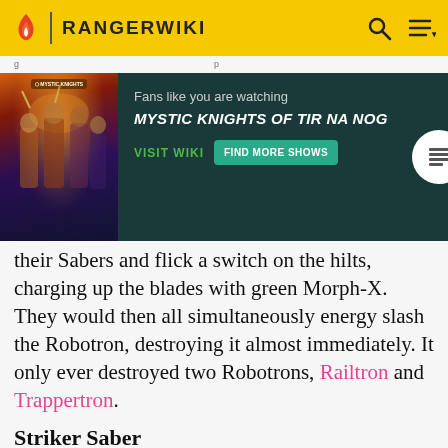RANGERWIKI
[Figure (illustration): RangerWiki promotional banner for Mystic Knights of Tir Na Nog showing show artwork, with 'Fans like you are watching MYSTIC KNIGHTS OF TIR NA NOG', VISIT WIKI and FIND MORE SHOWS buttons]
their Sabers and flick a switch on the hilts, charging up the blades with green Morph-X. They would then all simultaneously energy slash the Robotron, destroying it almost immediately. It only ever destroyed two Robotrons, Railtron and Trappertron.
Striker Saber
[Figure (other): Bottom advertisement for Dickies Official Site - Workwear & Apparel showing product image and visit button]